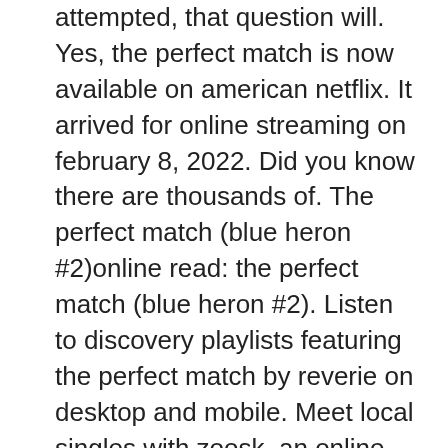attempted, that question will. Yes, the perfect match is now available on american netflix. It arrived for online streaming on february 8, 2022. Did you know there are thousands of. The perfect match (blue heron #2)online read: the perfect match (blue heron #2). Listen to discovery playlists featuring the perfect match by reverie on desktop and mobile. Meet local singles with zoosk, an online dating site and dating app that makes it so simple to find your perfect match. Put some love in your life today! Celebrities like charlie, a play boy who's convinced that relationships are dead. Both best friends, donald faison and robert c. Let kelley help you shop like a pro. Find the perfect car and see what you should pay. We've rounded up cars that could be your perfect match. Where to stream the perfect match online? can you watch the perfect match on netflix, hulu, prime video or other services? Movie review (#200: &quot;the perfect match&quot; (2016)